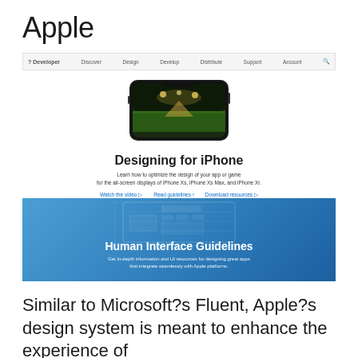Apple
[Figure (screenshot): Apple Developer website navigation bar with links: Developer, Discover, Design, Develop, Distribute, Support, Account, and search icon]
[Figure (screenshot): Apple Developer website hero section showing an iPhone X with a night sports field photo, title 'Designing for iPhone', subtitle 'Learn how to optimize the design of your app or game for the all-screen displays of iPhone Xs, iPhone Xs Max, and iPhone Xr.', and links: Watch the video, Read guidelines, Download resources]
[Figure (screenshot): Blue gradient banner for Human Interface Guidelines with wireframe UI illustration, title 'Human Interface Guidelines', subtitle 'Get in-depth information and UI resources for designing great apps that integrate seamlessly with Apple platforms.']
Similar to Microsoft?s Fluent, Apple?s design system is meant to enhance the experience of